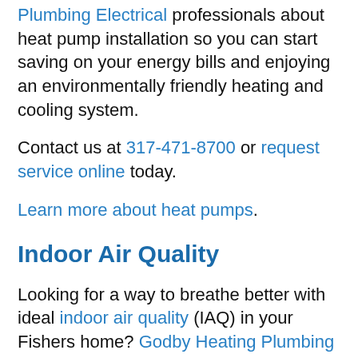Plumbing Electrical professionals about heat pump installation so you can start saving on your energy bills and enjoying an environmentally friendly heating and cooling system.
Contact us at 317-471-8700 or request service online today.
Learn more about heat pumps.
Indoor Air Quality
Looking for a way to breathe better with ideal indoor air quality (IAQ) in your Fishers home? Godby Heating Plumbing Electrical...